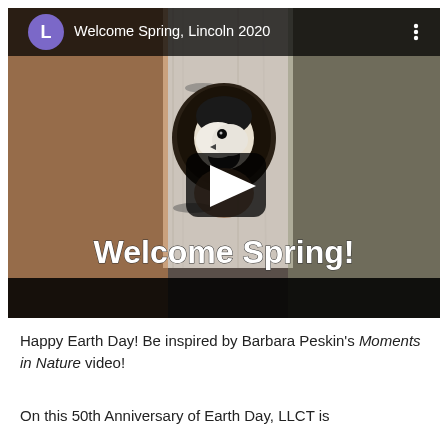[Figure (screenshot): YouTube video thumbnail showing a bird (chickadee) peeking out of a hole in a birch tree. The video title bar at the top shows a purple 'L' avatar icon and the title 'Welcome Spring, Lincoln 2020' with a three-dot menu. A dark play button is centered on the image. White bold text at the bottom reads 'Welcome Spring!'. The thumbnail has a black letterbox bar at the bottom.]
Happy Earth Day! Be inspired by Barbara Peskin's Moments in Nature video!
On this 50th Anniversary of Earth Day, LLCT is